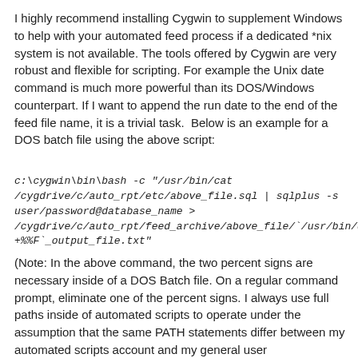I highly recommend installing Cygwin to supplement Windows to help with your automated feed process if a dedicated *nix system is not available. The tools offered by Cygwin are very robust and flexible for scripting. For example the Unix date command is much more powerful than its DOS/Windows counterpart. If I want to append the run date to the end of the feed file name, it is a trivial task.  Below is an example for a DOS batch file using the above script:
c:\cygwin\bin\bash -c "/usr/bin/cat /cygdrive/c/auto_rpt/etc/above_file.sql | sqlplus -s user/password@database_name > /cygdrive/c/auto_rpt/feed_archive/above_file/`/usr/bin/date +%%F`_output_file.txt"
(Note: In the above command, the two percent signs are necessary inside of a DOS Batch file. On a regular command prompt, eliminate one of the percent signs. I always use full paths inside of automated scripts to operate under the assumption that the same PATH statements differ between my automated scripts account and my general user